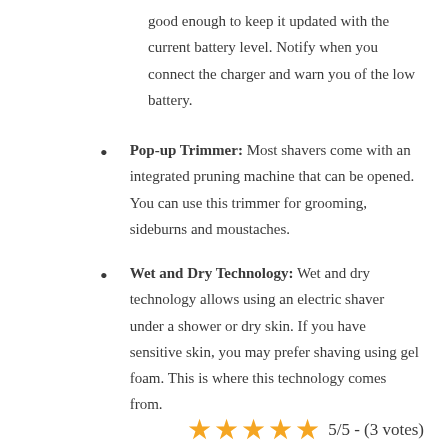good enough to keep it updated with the current battery level. Notify when you connect the charger and warn you of the low battery.
Pop-up Trimmer: Most shavers come with an integrated pruning machine that can be opened. You can use this trimmer for grooming, sideburns and moustaches.
Wet and Dry Technology: Wet and dry technology allows using an electric shaver under a shower or dry skin. If you have sensitive skin, you may prefer shaving using gel foam. This is where this technology comes from.
5/5 - (3 votes)